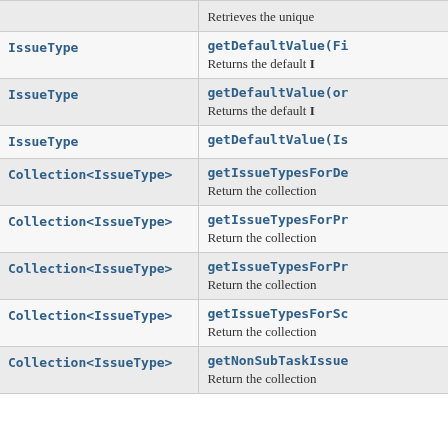| Type | Method |
| --- | --- |
|  | Retrieves the unique |
| IssueType | getDefaultValue(Fi
Returns the default I |
| IssueType | getDefaultValue(or
Returns the default I |
| IssueType | getDefaultValue(Is |
| Collection<IssueType> | getIssueTypesForDe
Return the collection |
| Collection<IssueType> | getIssueTypesForPr
Return the collection |
| Collection<IssueType> | getIssueTypesForPr
Return the collection |
| Collection<IssueType> | getIssueTypesForSc
Return the collection |
| Collection<IssueType> | getNonSubTaskIssue
Return the collection |